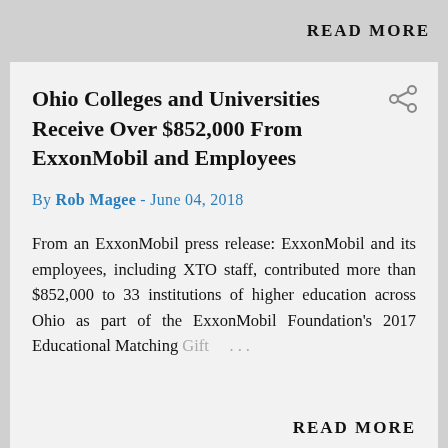READ MORE
Ohio Colleges and Universities Receive Over $852,000 From ExxonMobil and Employees
By Rob Magee - June 04, 2018
From an ExxonMobil press release: ExxonMobil and its employees, including XTO staff, contributed more than $852,000 to 33 institutions of higher education across Ohio as part of the ExxonMobil Foundation's 2017 Educational Matching Gift ...
READ MORE